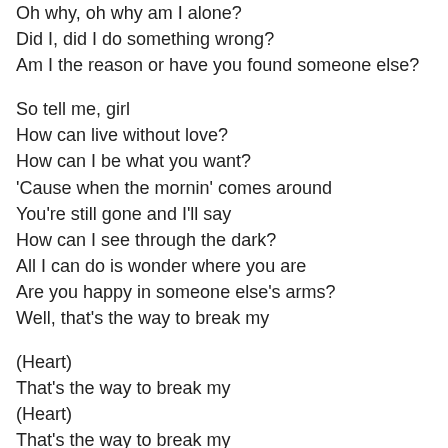Oh why, oh why am I alone?
Did I, did I do something wrong?
Am I the reason or have you found someone else?
So tell me, girl
How can live without love?
How can I be what you want?
'Cause when the mornin' comes around
You're still gone and I'll say
How can I see through the dark?
All I can do is wonder where you are
Are you happy in someone else's arms?
Well, that's the way to break my
(Heart)
That's the way to break my
(Heart)
That's the way to break my